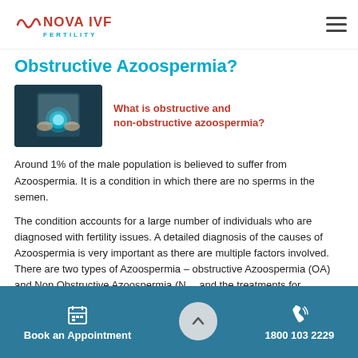NOVA IVF FERTILITY
Obstructive Azoospermia?
[Figure (photo): Doctor holding a glowing blue sphere, medical context image]
What is obstructive and non-obstructive azoospermia?
Around 1% of the male population is believed to suffer from Azoospermia. It is a condition in which there are no sperms in the semen.
The condition accounts for a large number of individuals who are diagnosed with fertility issues. A detailed diagnosis of the causes of Azoospermia is very important as there are multiple factors involved. There are two types of Azoospermia – obstructive Azoospermia (OA) and Non Obstructive Azoospermia (NOA) and the treatments for
Book an Appointment    1800 103 2229